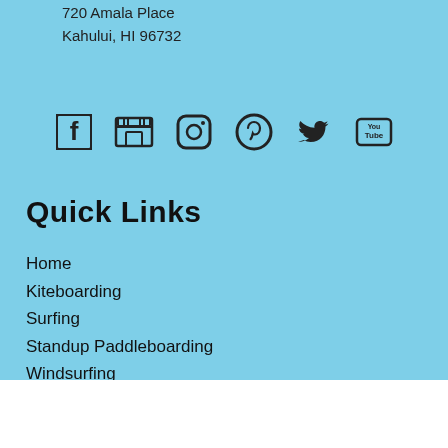720 Amala Place
Kahului, HI 96732
[Figure (other): Row of social media icons: Facebook, Google My Business (store), Instagram, Pinterest, Twitter, YouTube]
Quick Links
Home
Kiteboarding
Surfing
Standup Paddleboarding
Windsurfing
CALL TO BOOK